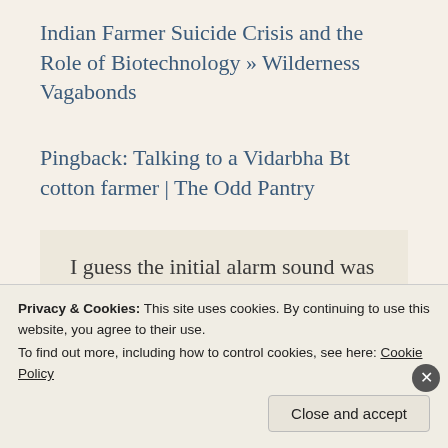Indian Farmer Suicide Crisis and the Role of Biotechnology » Wilderness Vagabonds
Pingback: Talking to a Vidarbha Bt cotton farmer | The Odd Pantry
I guess the initial alarm sound was not from your brain or heart must be a
Privacy & Cookies: This site uses cookies. By continuing to use this website, you agree to their use.
To find out more, including how to control cookies, see here: Cookie Policy
Close and accept